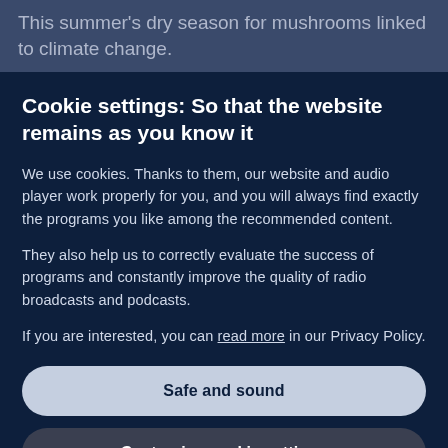This summer's dry season for mushrooms linked to climate change.
Cookie settings: So that the website remains as you know it
We use cookies. Thanks to them, our website and audio player work properly for you, and you will always find exactly the programs you like among the recommended content.
They also help us to correctly evaluate the success of programs and constantly improve the quality of radio broadcasts and podcasts.
If you are interested, you can read more in our Privacy Policy.
Safe and sound
Customise cookie settings